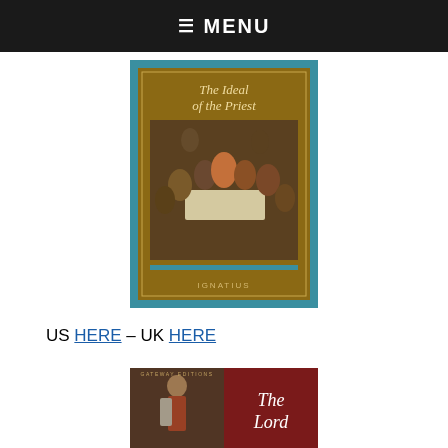☰ MENU
[Figure (illustration): Book cover of 'The Ideal of the Priest' published by Ignatius Press. Brown/golden background with teal border, showing a classical painting of the Last Supper with Jesus and disciples around a table.]
US HERE – UK HERE
[Figure (illustration): Book cover of 'The Lord' from Gateway Editions. Left half shows a classical painting of Christ, right half is dark red with italic white text reading 'The Lord'.]